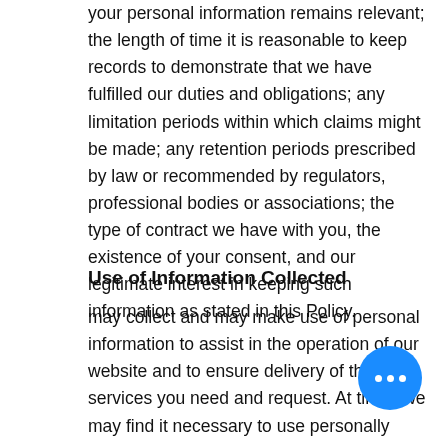your personal information remains relevant; the length of time it is reasonable to keep records to demonstrate that we have fulfilled our duties and obligations; any limitation periods within which claims might be made; any retention periods prescribed by law or recommended by regulators, professional bodies or associations; the type of contract we have with you, the existence of your consent, and our legitimate interest in keeping such information as stated in this Policy.
Use of Information Collected
may collect and may make use of personal information to assist in the operation of our website and to ensure delivery of the services you need and request. At times we may find it necessary to use personally